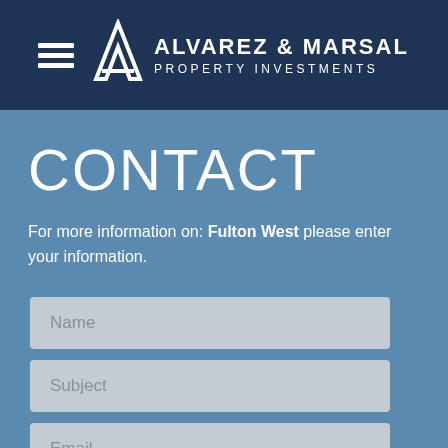ALVAREZ & MARSAL PROPERTY INVESTMENTS
CONTACT
For more information on: Fulton West please enter your information.
[Figure (screenshot): Contact form with three input fields: Name, Subject, Email]
Name
Subject
Email